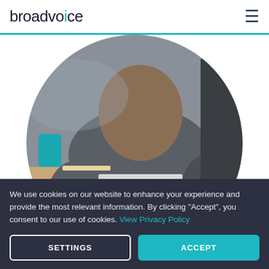broadvoice
[Figure (photo): Circular cropped photo of a person sitting at a desk working on a laptop/keyboard, viewed from behind, wearing a grey top.]
Level the playing field.
With no upfront investments, lower operational costs,
We use cookies on our website to enhance your experience and provide the most relevant information. By clicking "Accept", you consent to our use of cookies. View Privacy Policy
SETTINGS
ACCEPT